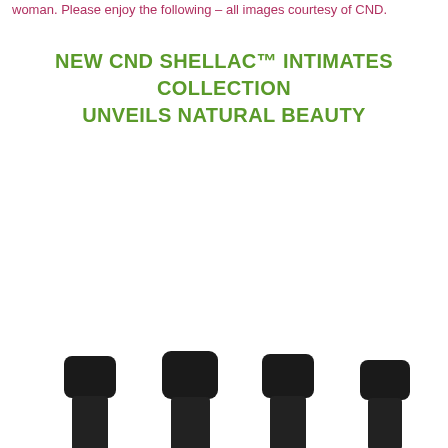woman. Please enjoy the following – all images courtesy of CND.
NEW CND SHELLAC™ INTIMATES COLLECTION UNVEILS NATURAL BEAUTY
[Figure (photo): Four nail polish bottles with black caps, partially visible at the bottom of the page, showing only the tops of the bottles against a white background.]